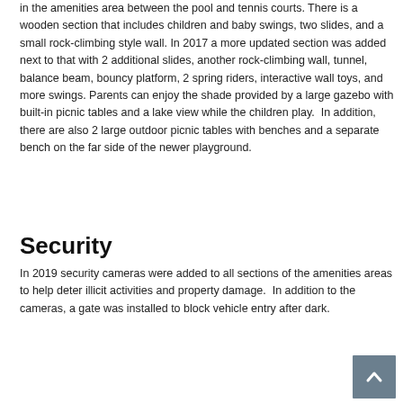in the amenities area between the pool and tennis courts. There is a wooden section that includes children and baby swings, two slides, and a small rock-climbing style wall. In 2017 a more updated section was added next to that with 2 additional slides, another rock-climbing wall, tunnel, balance beam, bouncy platform, 2 spring riders, interactive wall toys, and more swings. Parents can enjoy the shade provided by a large gazebo with built-in picnic tables and a lake view while the children play.  In addition, there are also 2 large outdoor picnic tables with benches and a separate bench on the far side of the newer playground.
Security
In 2019 security cameras were added to all sections of the amenities areas to help deter illicit activities and property damage.  In addition to the cameras, a gate was installed to block vehicle entry after dark.